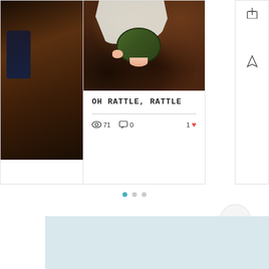[Figure (photo): Left partial card strip showing a dark background with a partial view of an indoor scene]
[Figure (photo): Center card showing a tortoise partially under a white cloth/bag on dark soil/substrate, with green shell visible]
OH RATTLE, RATTLE
71 views  0 comments  1 like
[Figure (other): Right sidebar strip with plus icon and warning/pin icon]
[Figure (other): Pagination indicator with three dots, first dot highlighted in teal]
[Figure (other): Circular scroll-to-top button with upward chevron]
[Figure (other): Light blue footer section area]